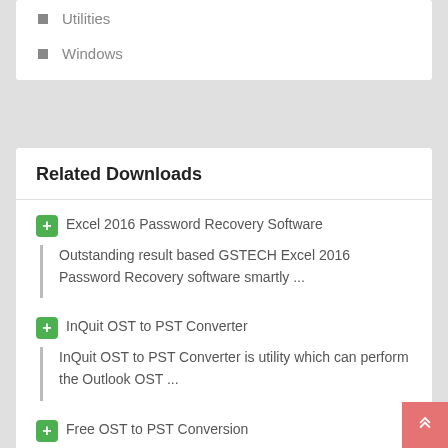Utilities
Windows
Related Downloads
Excel 2016 Password Recovery Software
Outstanding result based GSTECH Excel 2016 Password Recovery software smartly ...
InQuit OST to PST Converter
InQuit OST to PST Converter is utility which can perform the Outlook OST ...
Free OST to PST Conversion
Download Free OST to PST